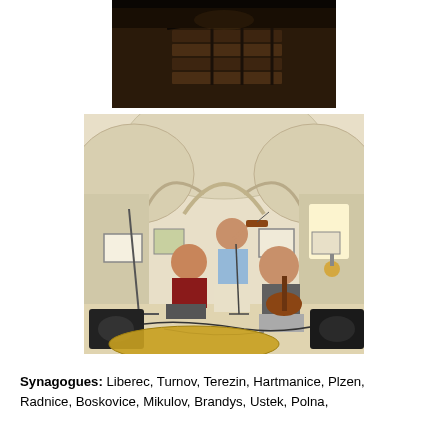[Figure (photo): Photo of an interior staircase with dark wood and wrought iron railing, dimly lit]
[Figure (photo): Musicians rehearsing or performing inside a synagogue with arched vaulted ceilings. A person stands playing violin while another sits playing guitar. Equipment and cables on the floor.]
Synagogues: Liberec, Turnov, Terezin, Hartmanice, Plzen, Radnice, Boskovice, Mikulov, Brandys, Ustek, Polna,